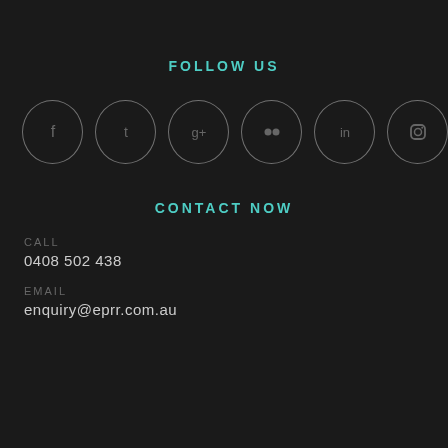FOLLOW US
[Figure (illustration): Six social media icon circles in a row: Facebook (f), Tumblr (t), Google+ (g+), Flickr, LinkedIn (in), Instagram. All outlined circles with dark icon symbols on dark background.]
CONTACT NOW
CALL
0408 502 438
EMAIL
enquiry@eprr.com.au